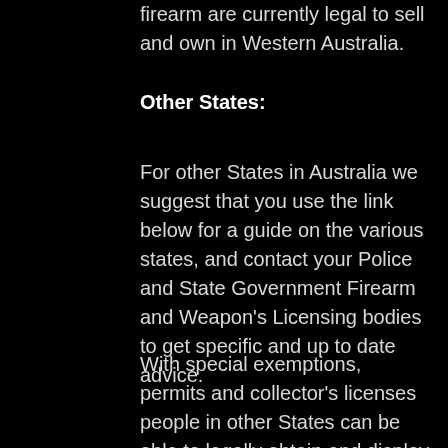firearm are currently legal to sell and own in Western Australia.
Other States:
For other States in Australia we suggest that you use the link below for a guide on the various states, and contact your Police and State Government Firearm and Weapon's Licensing bodies to get specific and up to date advice.
With special exemptions, permits and collector's licenses people in other States can be able to legally obtain and display replicas as part of a militaria collection or re-enactment hobby and theatre / stage productions etc.